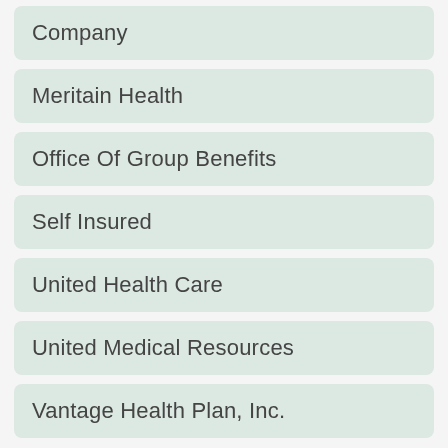Company
Meritain Health
Office Of Group Benefits
Self Insured
United Health Care
United Medical Resources
Vantage Health Plan, Inc.